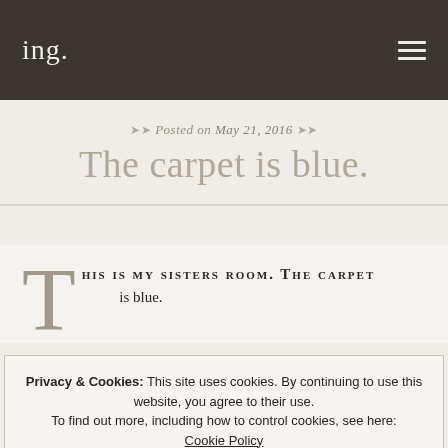ing.
Posted on May 21, 2016
The carpet is blue.
THIS IS MY SISTERS ROOM. THE CARPET is blue.
Privacy & Cookies: This site uses cookies. By continuing to use this website, you agree to their use. To find out more, including how to control cookies, see here: Cookie Policy
Close and accept